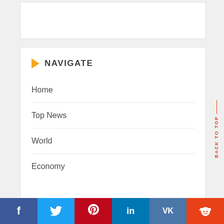NAVIGATE
Home
Top News
World
Economy
f | Twitter | Pinterest | in | VK | Reddit